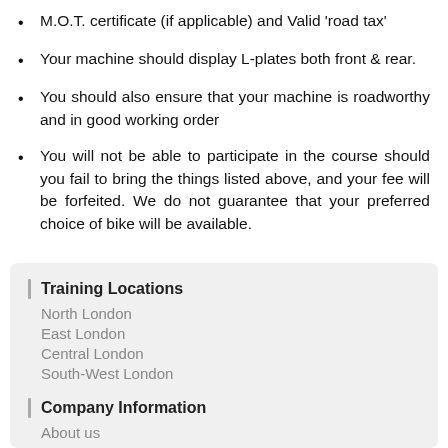M.O.T. certificate (if applicable) and Valid 'road tax'
Your machine should display L-plates both front & rear.
You should also ensure that your machine is roadworthy and in good working order
You will not be able to participate in the course should you fail to bring the things listed above, and your fee will be forfeited. We do not guarantee that your preferred choice of bike will be available.
Training Locations
North London
East London
Central London
South-West London
Company Information
About us
Contact us
Terms & Conditions